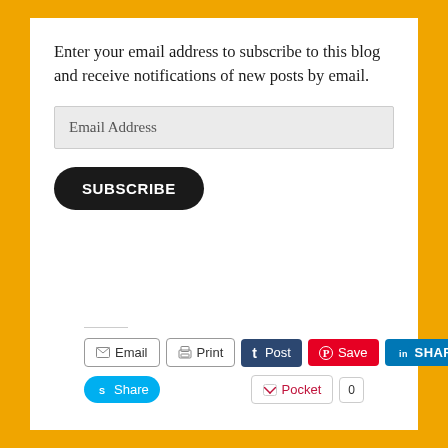Enter your email address to subscribe to this blog and receive notifications of new posts by email.
Email Address
SUBSCRIBE
Email  Print  Post  Save  SHARE  Share  Pocket  0